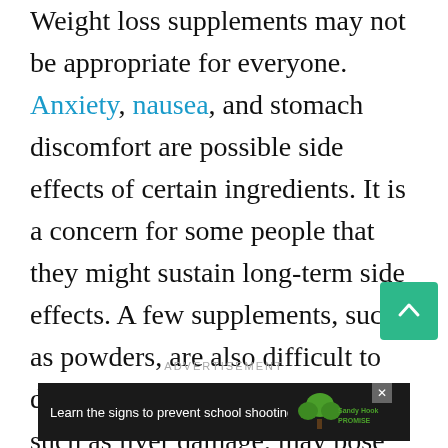Weight loss supplements may not be appropriate for everyone. Anxiety, nausea, and stomach discomfort are possible side effects of certain ingredients. It is a concern for some people that they might sustain long-term side effects. A few supplements, such as powders, are also difficult to digest, and underlying conditions, such as liver damage, may pose health risks.
ADVERTISEMENT
[Figure (screenshot): Advertisement banner with dark background showing 'Learn the signs to prevent school shootings.' with Sandy Hook Promise logo and tree graphic, and a close button. Merriam-Webster logo visible to the right.]